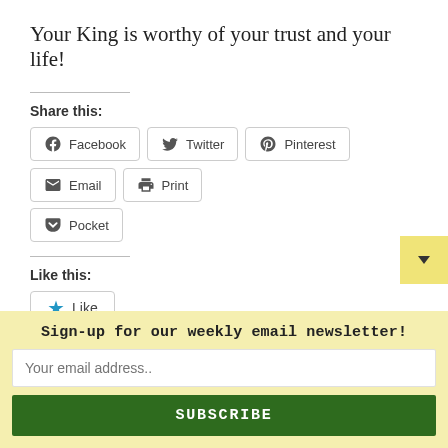Your King is worthy of your trust and your life!
Share this:
[Figure (other): Social share buttons: Facebook, Twitter, Pinterest, Email, Print, Pocket]
Like this:
[Figure (other): Like button with star icon]
Be the first to like this.
Sign-up for our weekly email newsletter!
Your email address..
SUBSCRIBE